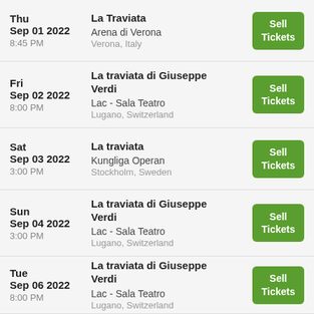| Date | Event | Action |
| --- | --- | --- |
| Thu
Sep 01 2022
8:45 PM | La Traviata
Arena di Verona
Verona, Italy | Sell Tickets |
| Fri
Sep 02 2022
8:00 PM | La traviata di Giuseppe Verdi
Lac - Sala Teatro
Lugano, Switzerland | Sell Tickets |
| Sat
Sep 03 2022
3:00 PM | La traviata
Kungliga Operan
Stockholm, Sweden | Sell Tickets |
| Sun
Sep 04 2022
3:00 PM | La traviata di Giuseppe Verdi
Lac - Sala Teatro
Lugano, Switzerland | Sell Tickets |
| Tue
Sep 06 2022
8:00 PM | La traviata di Giuseppe Verdi
Lac - Sala Teatro
Lugano, Switzerland | Sell Tickets |